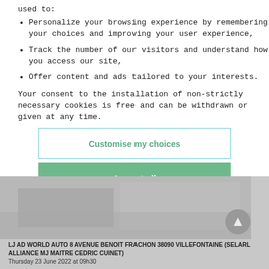used to:
Personalize your browsing experience by remembering your choices and improving your user experience,
Track the number of our visitors and understand how you access our site,
Offer content and ads tailored to your interests.
Your consent to the installation of non-strictly necessary cookies is free and can be withdrawn or given at any time.
Customise my choices
Accept all
[Figure (photo): Grayscale photo in background, partially obscured]
LJ AD WORLD AUTO 8 AVENUE BENOIT FRACHON 38090 VILLEFONTAINE (SELARL ALLIANCE MJ MAITRE CEDRIC CUINET)
Thursday 23 June 2022 at 09h30